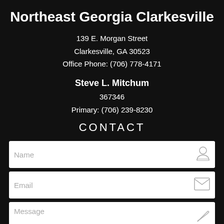Northeast Georgia Clarkesville
139 E. Morgan Street
Clarkesville, GA 30523
Office Phone: (706) 778-4171
Steve L. Mitchum
367346
Primary: (706) 239-8230
CONTACT
Name
Email
Message